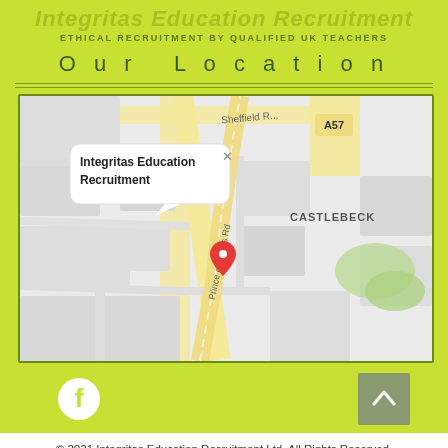Integritas Education Recruitment
ETHICAL RECRUITMENT BY QUALIFIED UK TEACHERS
Our Location
[Figure (map): Google Maps screenshot showing the location of Integritas Education Recruitment on Prince of Wales Rd, near CASTLEBECK area, Sheffield. A red pin marks the office location. A popup bubble shows 'Integritas Education Recruitment'. Road A57 visible top right. Road 'Sheffield Rd' visible top center.]
© 2021 Integritas Education Recruitment Ltd. All Rights Reserved.